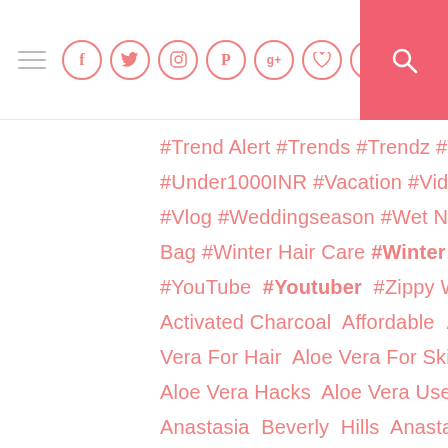Navigation bar with hamburger menu, social icons (Facebook, Twitter, Instagram, Pinterest, Google+, Heart, Tumblr), and search button
#Trend Alert #Trends #Trendz #Twig #Ultime #Under1000INR #Vacation #Video #Vlcc #VLCC #Vlog #Weddingseason #Wet N Wild #What's I Bag #Winter Hair Care #Winter Skin Care #Wrappe #YouTube #Youtuber #Zippy Wallet Acne P Activated Charcoal Affordable Alanna All Fired Up Vera For Hair Aloe Vera For Skin Aloe Vera Gel Be Aloe Vera Hacks Aloe Vera Uses Amway An Anastasia Beverly Hills Anastasiabeverlyhills Dongre Argan Oil Art Festival Artistry Ashton A Baked Pot Blush Balancing Cleanser Bath And Bblunt Beauty Beautyblogger Beautyproduct Beau Benefit Best Body Lotion Best Concealer